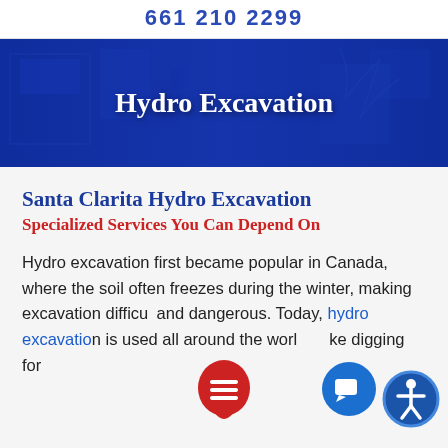661 210 2299
[Figure (photo): Dark blue hero banner with industrial/construction equipment in the background, overlaid with the text 'Hydro Excavation' in white serif font]
Hydro Excavation
Santa Clarita Hydro Excavation
Specialized Services You Can Depend On
Hydro excavation first became popular in Canada, where the soil often freezes during the winter, making excavation difficult and dangerous. Today, hydro excavation is used all around the world to make digging for